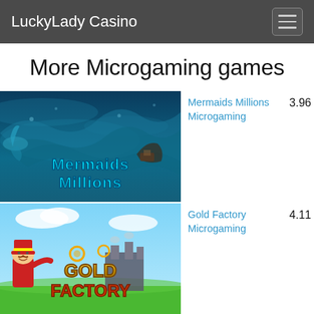LuckyLady Casino
More Microgaming games
[Figure (screenshot): Mermaids Millions slot game thumbnail — underwater scene with mermaids and sunken treasure, stylized logo text 'Mermaids Millions']
Mermaids Millions  3.96
Microgaming
[Figure (screenshot): Gold Factory slot game thumbnail — steampunk factory scene with a man in a red top hat, stylized logo text 'Gold Factory']
Gold Factory  4.11
Microgaming